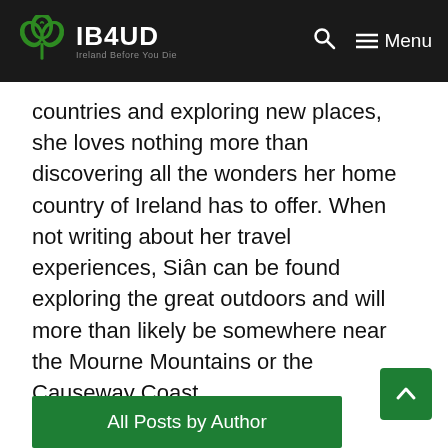IB4UD — Ireland Before You Die
countries and exploring new places, she loves nothing more than discovering all the wonders her home country of Ireland has to offer. When not writing about her travel experiences, Siân can be found exploring the great outdoors and will more than likely be somewhere near the Mourne Mountains or the Causeway Coast.
All Posts by Author